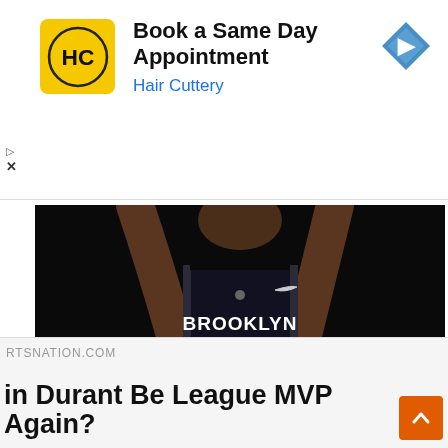[Figure (illustration): Hair Cuttery advertisement banner with logo, title 'Book a Same Day Appointment', subtitle 'Hair Cuttery', and navigation arrow icon]
[Figure (photo): Basketball player wearing Brooklyn Nets jersey number 7 (Kevin Durant) in a dark arena setting, leaning forward]
RTSNATION.COM
in Durant Be League MVP Again?